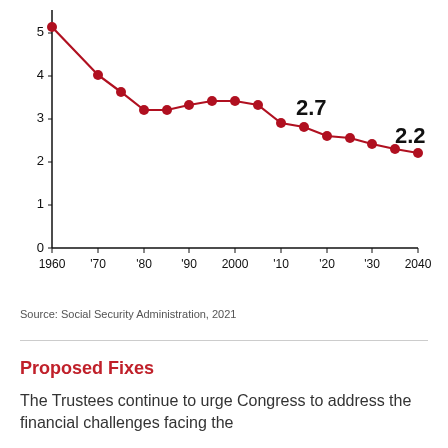[Figure (line-chart): ]
Source: Social Security Administration, 2021
Proposed Fixes
The Trustees continue to urge Congress to address the financial challenges facing the